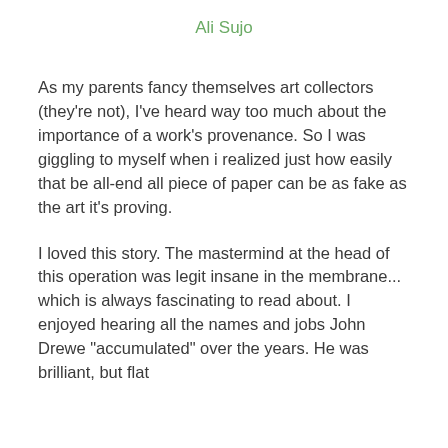Ali Sujo
As my parents fancy themselves art collectors (they're not), I've heard way too much about the importance of a work's provenance.  So I was giggling to myself when i realized just how easily that be all-end all piece of paper can be as fake as the art it's proving.
I loved this story.  The mastermind at the head of this operation was legit insane in the membrane... which is always fascinating to read about.  I enjoyed hearing all the names and jobs John Drewe "accumulated" over the years.  He was brilliant, but flat